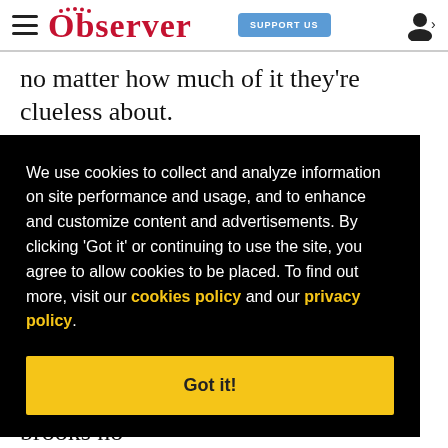Dallas Observer — SUPPORT US
no matter how much of it they're clueless about.
We use cookies to collect and analyze information on site performance and usage, and to enhance and customize content and advertisements. By clicking 'Got it' or continuing to use the site, you agree to allow cookies to be placed. To find out more, visit our cookies policy and our privacy policy.
Got it!
imperious Countess Glamorgan, who brooks no